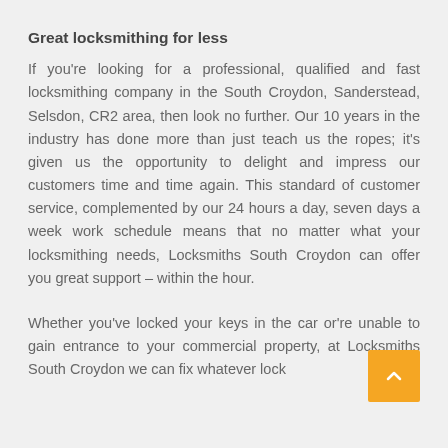Great locksmithing for less
If you're looking for a professional, qualified and fast locksmithing company in the South Croydon, Sanderstead, Selsdon, CR2 area, then look no further. Our 10 years in the industry has done more than just teach us the ropes; it's given us the opportunity to delight and impress our customers time and time again. This standard of customer service, complemented by our 24 hours a day, seven days a week work schedule means that no matter what your locksmithing needs, Locksmiths South Croydon can offer you great support – within the hour.
Whether you've locked your keys in the car or're unable to gain entrance to your commercial property, at Locksmiths South Croydon we can fix whatever lock